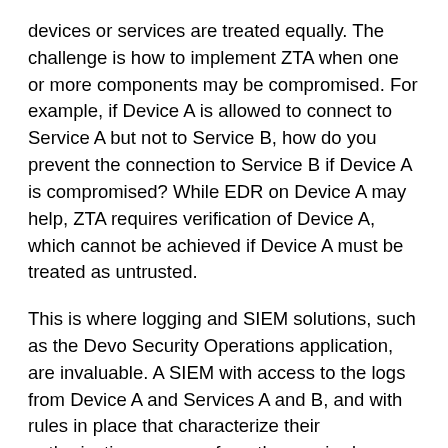devices or services are treated equally. The challenge is how to implement ZTA when one or more components may be compromised. For example, if Device A is allowed to connect to Service A but not to Service B, how do you prevent the connection to Service B if Device A is compromised? While EDR on Device A may help, ZTA requires verification of Device A, which cannot be achieved if Device A must be treated as untrusted.
This is where logging and SIEM solutions, such as the Devo Security Operations application, are invaluable. A SIEM with access to the logs from Device A and Services A and B, and with rules in place that characterize their authorizations, can perform the required verification process. A SIEM will assist the SOC team in determining if any of the components have been potentially compromised and initiating investigations where necessary. Devo can pull in logs from the devices, the EDR solution, and any deployed asset discovery and